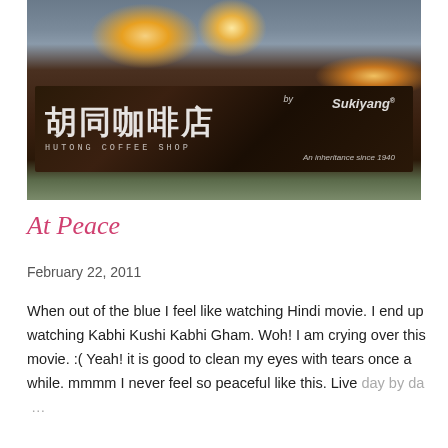[Figure (photo): Photo of a coffee shop sign reading Chinese characters (Hutong Coffee Shop) with 'by Sukiyang® An inheritance since 1940' text on a dark brown banner background, ceiling lights visible above]
At Peace
February 22, 2011
When out of the blue I feel like watching Hindi movie. I end up watching Kabhi Kushi Kabhi Gham. Woh! I am crying over this movie. :( Yeah! it is good to clean my eyes with tears once a while. mmmm I never feel so peaceful like this. Live day by da ...